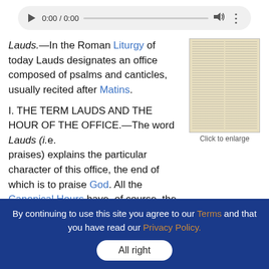[Figure (screenshot): Audio player control bar showing play button, time 0:00 / 0:00, progress bar, volume icon, and menu dots]
Lauds.—In the Roman Liturgy of today Lauds designates an office composed of psalms and canticles, usually recited after Matins.
[Figure (photo): Thumbnail of an old encyclopedia page with two columns of small text. Caption reads 'Click to enlarge'.]
Click to enlarge
I. THE TERM LAUDS AND THE HOUR OF THE OFFICE.—
The word Lauds (i.e. praises) explains the particular character of this office, the end of which is to praise God. All the Canonical Hours have, of course, the same object, but Lauds may be said to have this
By continuing to use this site you agree to our Terms and that you have read our Privacy Policy.
All right